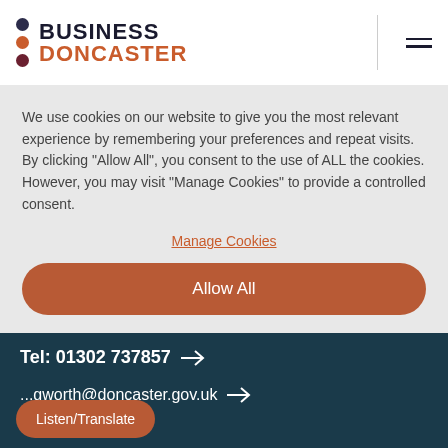[Figure (logo): Business Doncaster logo with three colored dots (dark navy, orange, maroon) and bold text 'BUSINESS' in dark navy and 'DONCASTER' in orange]
We use cookies on our website to give you the most relevant experience by remembering your preferences and repeat visits. By clicking "Allow All", you consent to the use of ALL the cookies. However, you may visit "Manage Cookies" to provide a controlled consent.
Manage Cookies
Allow All
Tel: 01302 737857 →
...gworth@doncaster.gov.uk →
Listen/Translate